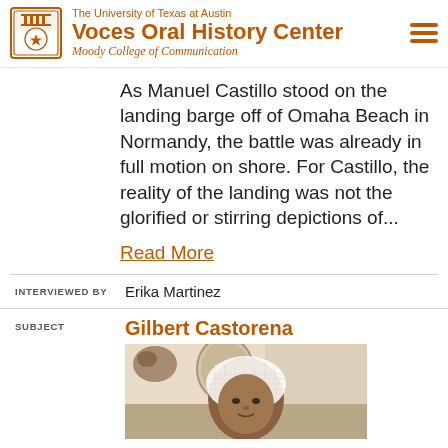The University of Texas at Austin Voces Oral History Center Moody College of Communication
As Manuel Castillo stood on the landing barge off of Omaha Beach in Normandy, the battle was already in full motion on shore. For Castillo, the reality of the landing was not the glorified or stirring depictions of...
Read More
INTERVIEWED BY  Erika Martinez
SUBJECT  Gilbert Castorena
[Figure (photo): Photo of Gilbert Castorena, an elderly person wearing a white crocheted/mesh head covering, seated indoors with floral decorations visible in background]